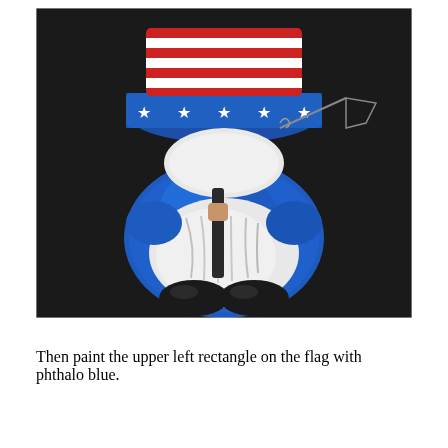[Figure (photo): A painted gnome wearing a patriotic American flag hat (red, white, and blue with white stars), with a large white beard, blue body/outfit, black shoes, and holding a flag pole with a sketched flag outline. Painted on a dark/black background.]
Then paint the upper left rectangle on the flag with phthalo blue.